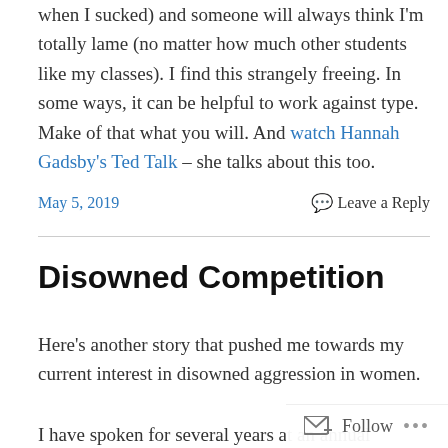when I sucked) and someone will always think I'm totally lame (no matter how much other students like my classes). I find this strangely freeing. In some ways, it can be helpful to work against type. Make of that what you will. And watch Hannah Gadsby's Ted Talk – she talks about this too.
May 5, 2019
Leave a Reply
Disowned Competition
Here's another story that pushed me towards my current interest in disowned aggression in women.
I have spoken for several years at an annual conference